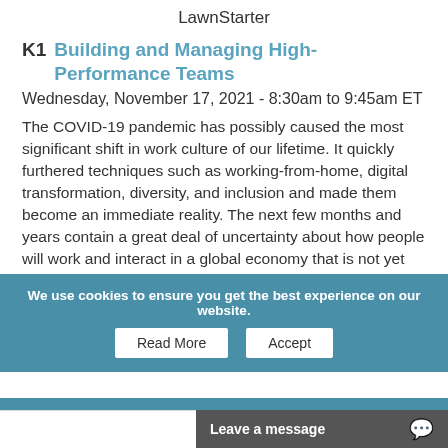LawnStarter
K1   Building and Managing High-Performance Teams
Wednesday, November 17, 2021 - 8:30am to 9:45am ET
The COVID-19 pandemic has possibly caused the most significant shift in work culture of our lifetime. It quickly furthered techniques such as working-from-home, digital transformation, diversity, and inclusion and made them become an immediate reality. The next few months and years contain a great deal of uncertainty about how people will work and interact in a global economy that is not yet free of the disease and its enormous impact. So how can companies, tech sector businesses, adapt to this new normal? Alberto Silveira is passionate about ready
We use cookies to ensure you get the best experience on our website.
Read More
Accept
Leave a message